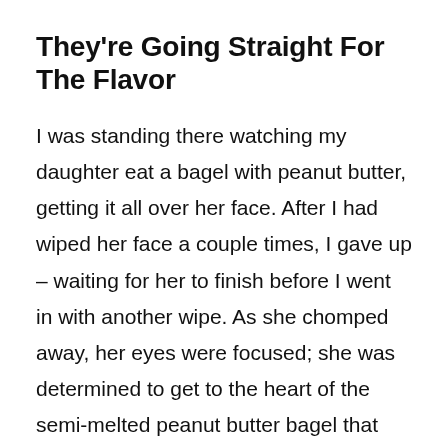They're Going Straight For The Flavor
I was standing there watching my daughter eat a bagel with peanut butter, getting it all over her face. After I had wiped her face a couple times, I gave up – waiting for her to finish before I went in with another wipe. As she chomped away, her eyes were focused; she was determined to get to the heart of the semi-melted peanut butter bagel that held her attention like no preschool teacher ever